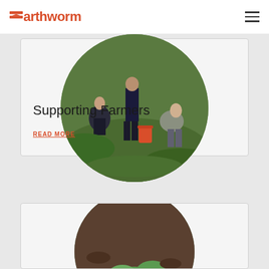earthworm
[Figure (photo): Circular cropped photo of farmers/workers picking crops in a green field, with a large orange bucket visible.]
Supporting Farmers
READ MORE
[Figure (photo): Circular cropped photo of green plants/seedlings in soil, partially visible at bottom of page.]